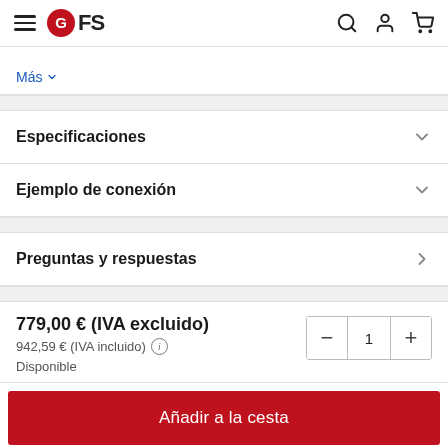GFS logo and navigation header
Más
Especificaciones
Ejemplo de conexión
Preguntas y respuestas
779,00 € (IVA excluido)
942,59 € (IVA incluido)
Disponible
Añadir a la cesta